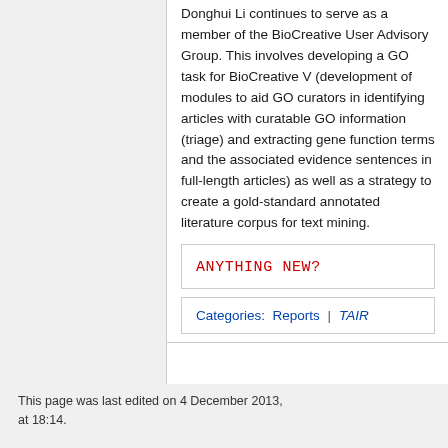Donghui Li continues to serve as a member of the BioCreative User Advisory Group. This involves developing a GO task for BioCreative V (development of modules to aid GO curators in identifying articles with curatable GO information (triage) and extracting gene function terms and the associated evidence sentences in full-length articles) as well as a strategy to create a gold-standard annotated literature corpus for text mining.
ANYTHING NEW?
Categories:  Reports  |  TAIR
This page was last edited on 4 December 2013, at 18:14.